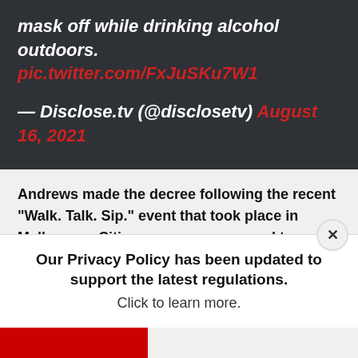mask off while drinking alcohol outdoors. pic.twitter.com/FxJuSKu7W1
— Disclose.tv (@disclosetv) August 16, 2021
Andrews made the decree following the recent "Walk. Talk. Sip." event that took place in Melbourne. Citizens were encouraged to walk from pub to pub and buy drinks, reports indicate, which prompted Andrews to sic the Victoria police on it for an investigation.
Our Privacy Policy has been updated to support the latest regulations. Click to learn more.